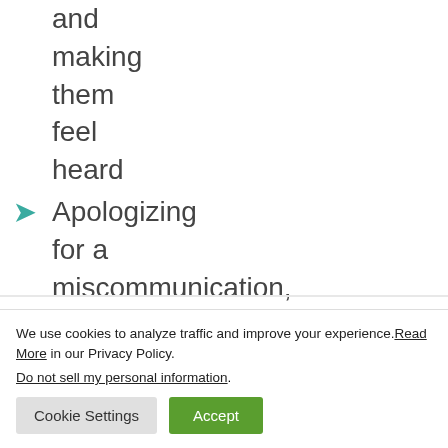and making them feel heard
Apologizing for a miscommunication, misunderstanding or
We use cookies to analyze traffic and improve your experience. Read More in our Privacy Policy. Do not sell my personal information.
Cookie Settings | Accept